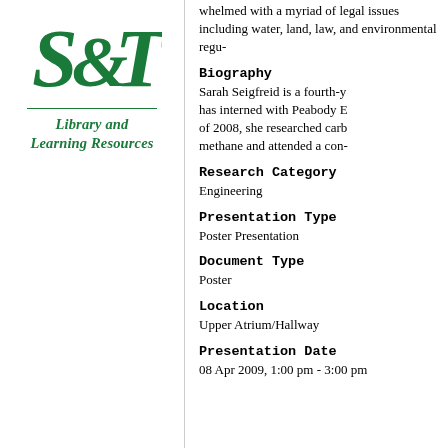[Figure (logo): S&T Library and Learning Resources logo — green S&T ampersand emblem above a horizontal rule, with italic green text 'Library and Learning Resources']
whelmed with a myriad of legal issues including water, land, law, and environmental regu-
Biography
Sarah Seigfreid is a fourth-y... has interned with Peabody E... of 2008, she researched carb... methane and attended a con-
Research Category
Engineering
Presentation Type
Poster Presentation
Document Type
Poster
Location
Upper Atrium/Hallway
Presentation Date
08 Apr 2009, 1:00 pm - 3:00 pm